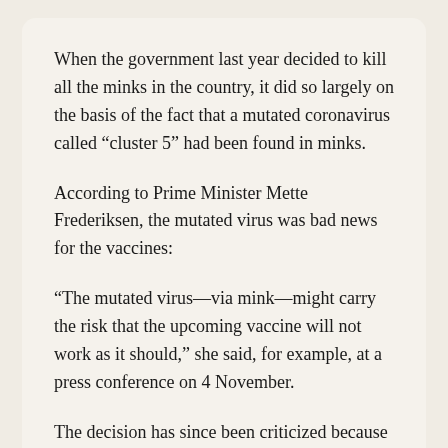When the government last year decided to kill all the minks in the country, it did so largely on the basis of the fact that a mutated coronavirus called “cluster 5” had been found in minks.
According to Prime Minister Mette Frederiksen, the mutated virus was bad news for the vaccines:
“The mutated virus—via mink—might carry the risk that the upcoming vaccine will not work as it should,” she said, for example, at a press conference on 4 November.
The decision has since been criticized because there was no evidence that the mink mutated virus could dodge the vaccines.